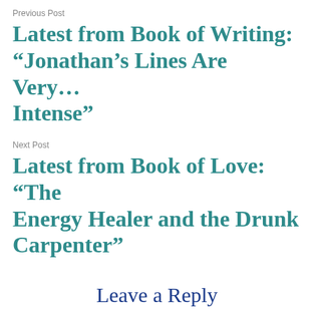Previous Post
Latest from Book of Writing: “Jonathan’s Lines Are Very… Intense”
Next Post
Latest from Book of Love: “The Energy Healer and the Drunk Carpenter”
Leave a Reply